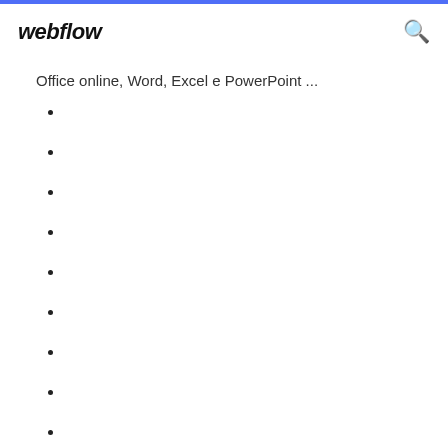webflow
Office online, Word, Excel e PowerPoint ...
1200
1180